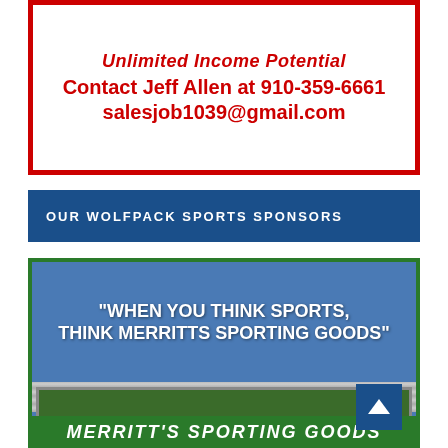Unlimited Income Potential
Contact Jeff Allen at 910-359-6661
salesjob1039@gmail.com
OUR WOLFPACK SPORTS SPONSORS
[Figure (photo): Photo of Merritt's Sporting Goods store sign on a corrugated metal roof with the quote 'WHEN YOU THINK SPORTS, THINK MERRITTS SPORTING GOODS' overlaid in white text on a blue sky background]
MERRITT'S SPORTING GOODS